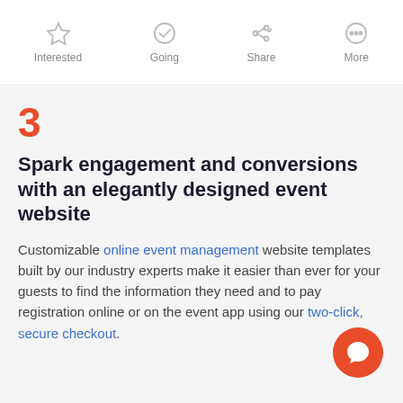[Figure (screenshot): Top navigation bar of a mobile app showing Interested, Going, Share, and More icons]
3
Spark engagement and conversions with an elegantly designed event website
Customizable online event management website templates built by our industry experts make it easier than ever for your guests to find the information they need and to pay registration online or on the event app using our two-click, secure checkout.